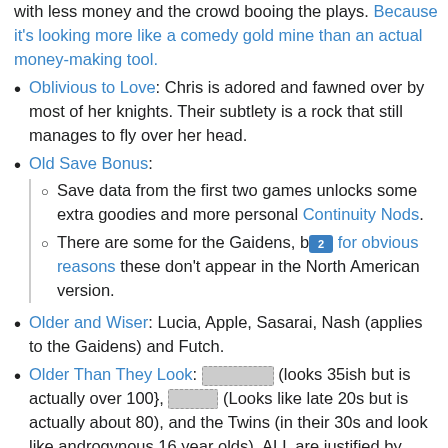with less money and the crowd booing the plays. Because it's looking more like a comedy gold mine than an actual money-making tool.
Oblivious to Love: Chris is adored and fawned over by most of her knights. Their subtlety is a rock that still manages to fly over her head.
Old Save Bonus:
Save data from the first two games unlocks some extra goodies and more personal Continuity Nods.
There are some for the Gaidens, but for obvious reasons these don't appear in the North American version.
Older and Wiser: Lucia, Apple, Sasarai, Nash (applies to the Gaidens) and Futch.
Older Than They Look: [redacted] (looks 35ish but is actually over 100}, [redacted] (Looks like late 20s but is actually about 80), and the Twins (in their 30s and look like androgynous 16 year olds). ALL are justified by their